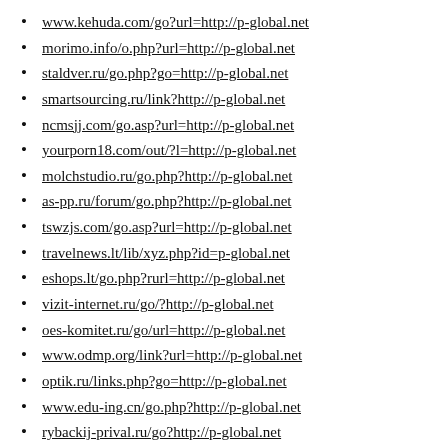www.kehuda.com/go?url=http://p-global.net
morimo.info/o.php?url=http://p-global.net
staldver.ru/go.php?go=http://p-global.net
smartsourcing.ru/link?http://p-global.net
ncmsjj.com/go.asp?url=http://p-global.net
yourporn18.com/out/?l=http://p-global.net
molchstudio.ru/go.php?http://p-global.net
as-pp.ru/forum/go.php?http://p-global.net
tswzjs.com/go.asp?url=http://p-global.net
travelnews.lt/lib/xyz.php?id=p-global.net
eshops.lt/go.php?rurl=http://p-global.net
vizit-internet.ru/go/?http://p-global.net
oes-komitet.ru/go/url=http://p-global.net
www.odmp.org/link?url=http://p-global.net
optik.ru/links.php?go=http://p-global.net
www.edu-ing.cn/go.php?http://p-global.net
rybackij-prival.ru/go?http://p-global.net
www.storyme.app/?exit=http://p-global.net
vyolen.ru/url.php?url=http://p-global.net